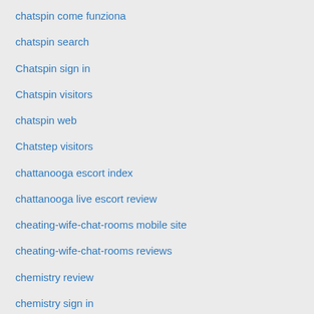chatspin come funziona
chatspin search
Chatspin sign in
Chatspin visitors
chatspin web
Chatstep visitors
chattanooga escort index
chattanooga live escort review
cheating-wife-chat-rooms mobile site
cheating-wife-chat-rooms reviews
chemistry review
chemistry sign in
chemistry-vs-eharmony online
chemistry-vs-eharmony services
chemistry-vs-match site